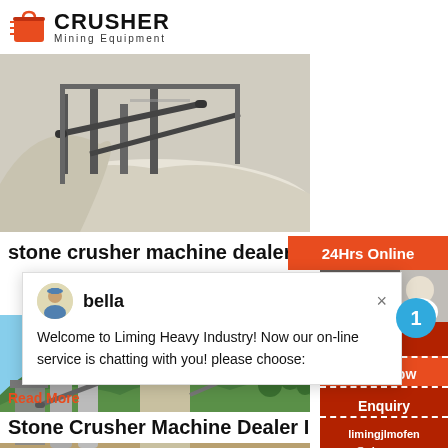[Figure (logo): Crusher Mining Equipment logo with red shopping bag icon and bold CRUSHER text]
[Figure (photo): Stone crusher machinery at a quarry site with white aggregate material and industrial equipment]
stone crusher machine dealer in g...
24Hrs Online
[Figure (screenshot): Chat popup with avatar named bella saying Welcome to Liming Heavy Industry message]
Read More
[Figure (photo): Stone crusher plant with conveyor belts and green forested hills in background]
Stone Crusher Machine Dealer In G...
Need & suggestions sidebar with Chat Now button, number badge 1, Enquiry, limingjlmofen@sina.com